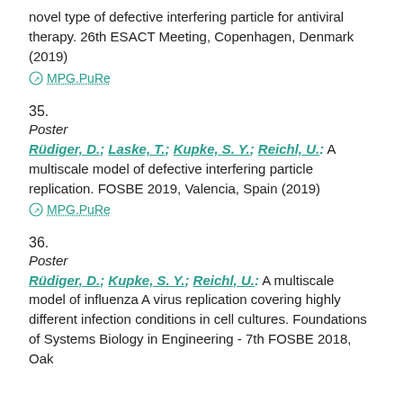novel type of defective interfering particle for antiviral therapy. 26th ESACT Meeting, Copenhagen, Denmark (2019)
↗ MPG.PuRe
35.
Poster
Rüdiger, D.; Laske, T.; Kupke, S. Y.; Reichl, U.: A multiscale model of defective interfering particle replication. FOSBE 2019, Valencia, Spain (2019)
↗ MPG.PuRe
36.
Poster
Rüdiger, D.; Kupke, S. Y.; Reichl, U.: A multiscale model of influenza A virus replication covering highly different infection conditions in cell cultures. Foundations of Systems Biology in Engineering - 7th FOSBE 2018, Oak